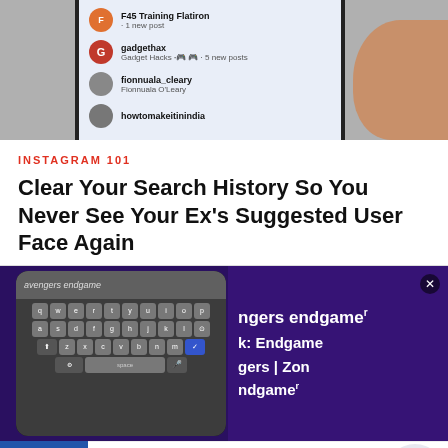[Figure (screenshot): Top portion of a smartphone screen showing Instagram following list with entries: F45 Training Flatiron +1 new post, gadgethax (Gadget Hacks, 5 new posts), fionnuala_cleary (Fionnuala O'Leary), howtomakeitinindia. A hand holding the phone is visible on the right.]
INSTAGRAM 101
Clear Your Search History So You Never See Your Ex's Suggested User Face Again
[Figure (screenshot): Smartphone displaying a QWERTY keyboard with 'avengers endgame' typed, against a purple Avengers Endgame movie promotional background showing text 'gers endgame', ': Endgame', 'gers | Zon', 'ndgame'.]
[Figure (other): Advertisement banner for Chewy.com: 'Pet Food, Products, Supplies at Low Prices - Pay the lowest prices on pet supplies at Chewy.com' with a blue circular arrow button on the right.]